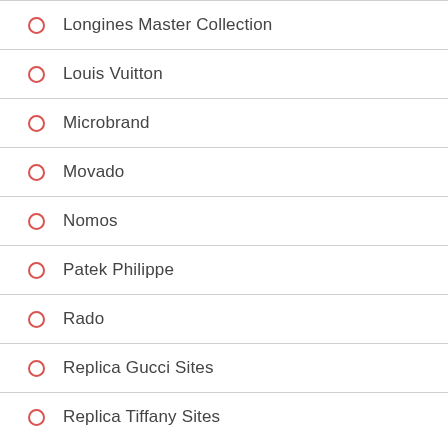Longines Master Collection
Louis Vuitton
Microbrand
Movado
Nomos
Patek Philippe
Rado
Replica Gucci Sites
Replica Tiffany Sites